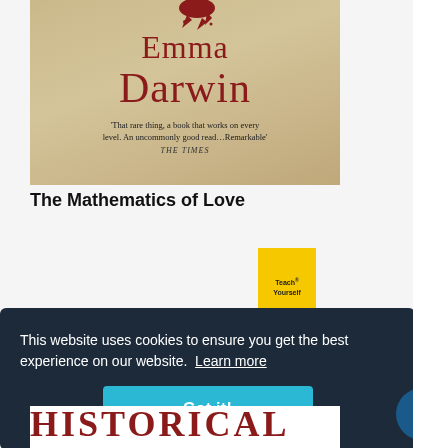[Figure (illustration): Book cover for 'The Mathematics of Love' by Emma Darwin. Aged parchment-style background in warm tan/gold tones. Author name 'Emma Darwin' in large red serif letters. Quote: 'That rare thing, a book that works on every level. An uncommonly good read... Remarkable' - THE TIMES. Red blood splash graphic at top.]
The Mathematics of Love
[Figure (illustration): Yellow 'Teach Yourself' branded book cover, partially visible.]
This website uses cookies to ensure you get the best experience on our website. Learn more
Got it!
HISTORICAL